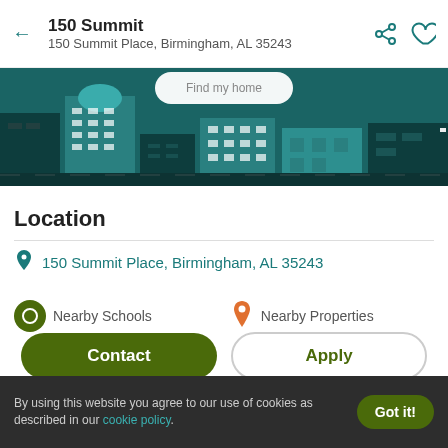150 Summit
150 Summit Place, Birmingham, AL 35243
[Figure (illustration): Illustrated city skyline with teal/dark teal buildings on a dark teal background, with a white rounded rectangle button partially visible at top]
Location
150 Summit Place, Birmingham, AL 35243
Nearby Schools   Nearby Properties
[Figure (map): Street map showing Birmingham AL area near coordinates for 150 Summit Place, with zoom plus button and expand icon]
By using this website you agree to our use of cookies as described in our cookie policy.